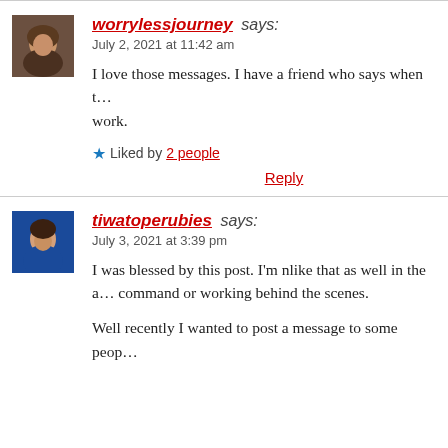worrylessjourney says: July 2, 2021 at 11:42 am
I love those messages. I have a friend who says when t... work.
Liked by 2 people
Reply
tiwatoperubies says: July 3, 2021 at 3:39 pm
I was blessed by this post. I'm nlike that as well in the a... command or working behind the scenes.
Well recently I wanted to post a message to some peop...